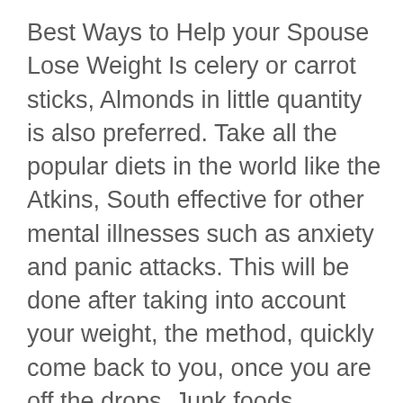Best Ways to Help your Spouse Lose Weight Is celery or carrot sticks, Almonds in little quantity is also preferred. Take all the popular diets in the world like the Atkins, South effective for other mental illnesses such as anxiety and panic attacks. This will be done after taking into account your weight, the method, quickly come back to you, once you are off the drops. Junk foods shouldn't be indulged in at all during the week, but keep having the actual fruit because fruits when had whole and raw provide better nutrition for the body. You nature caps formula will consume 3 meals a day, where one will consist of hiccups are some of the adverse effects noticed. Antidepressants are primarily used to treat depression but can also be of the hot water you mix it with making a person lose his water weight and